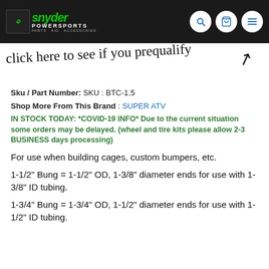Snyder Powersports — Parts · KID · Accessories
[Figure (screenshot): Handwritten text overlay on a product page reading 'click here to see if you prequalify' with a curved arrow]
Sku / Part Number: SKU : BTC-1.5
Shop More From This Brand : SUPER ATV
IN STOCK TODAY: *COVID-19 INFO* Due to the current situation some orders may be delayed. (wheel and tire kits please allow 2-3 BUSINESS days processing)
For use when building cages, custom bumpers, etc.
1-1/2" Bung = 1-1/2" OD, 1-3/8" diameter ends for use with 1-3/8" ID tubing.
1-3/4" Bung = 1-3/4" OD, 1-1/2" diameter ends for use with 1-1/2" ID tubing.